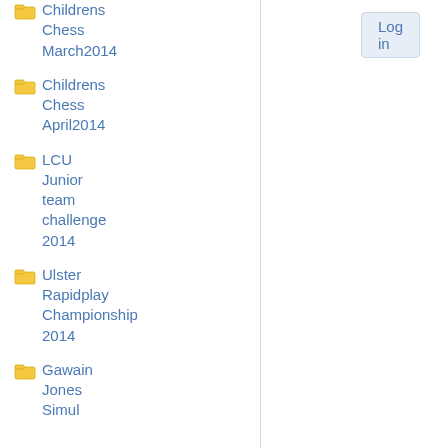Childrens Chess March2014
Childrens Chess April2014
LCU Junior team challenge 2014
Ulster Rapidplay Championship 2014
Gawain Jones Simul